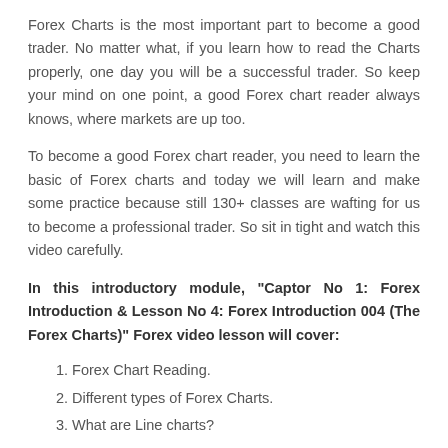Forex Charts is the most important part to become a good trader. No matter what, if you learn how to read the Charts properly, one day you will be a successful trader. So keep your mind on one point, a good Forex chart reader always knows, where markets are up too.
To become a good Forex chart reader, you need to learn the basic of Forex charts and today we will learn and make some practice because still 130+ classes are wafting for us to become a professional trader. So sit in tight and watch this video carefully.
In this introductory module, “Captor No 1: Forex Introduction & Lesson No 4: Forex Introduction 004 (The Forex Charts)” Forex video lesson will cover:
1. Forex Chart Reading.
2. Different types of Forex Charts.
3. What are Line charts?